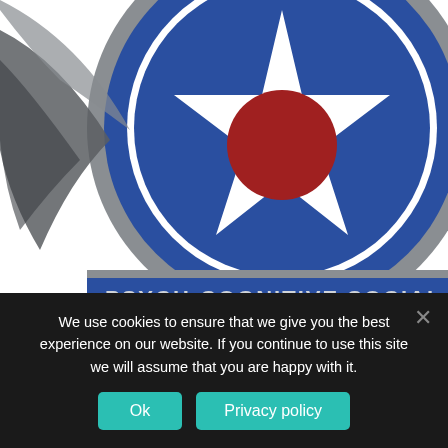[Figure (illustration): Partial view of a military-style emblem/patch. Dark blue circular badge with a white star containing a red circle in the center. Gray outer ring with text reading 'PSYCH-COGNITIVE SOCIAL-FA' (truncated). Gray swooping wing shapes on the left side.]
SpaceX wins small contract after losing out on $1bn in FCC funding. The US Air Force Special Operations Command has awarded SpaceX a $1.9 million contract to trial Starlink Internet services in Europe and Africa for one year. The
We use cookies to ensure that we give you the best experience on our website. If you continue to use this site we will assume that you are happy with it.